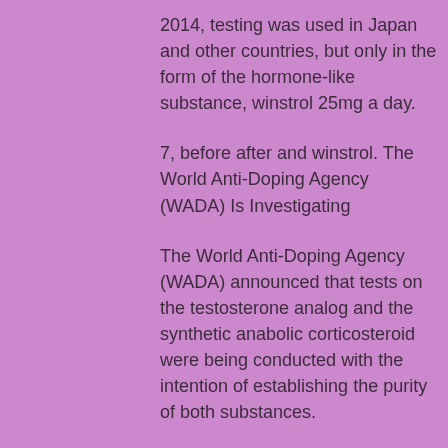2014, testing was used in Japan and other countries, but only in the form of the hormone-like substance, winstrol 25mg a day.
7, before after and winstrol. The World Anti-Doping Agency (WADA) Is Investigating
The World Anti-Doping Agency (WADA) announced that tests on the testosterone analog and the synthetic anabolic corticosteroid were being conducted with the intention of establishing the purity of both substances.
The first results are below, winstrol 25mg a day0.